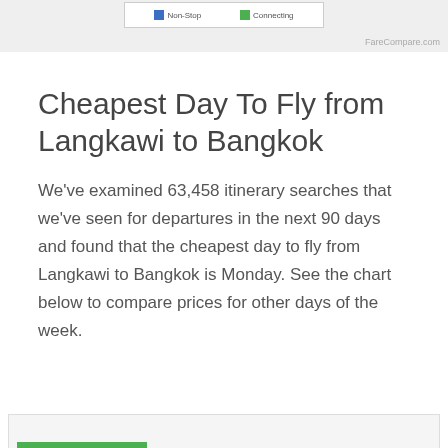[Figure (other): Top portion of a chart/legend showing two legend items: Non-Stop (blue) and Connecting (green), partially cropped at top of page]
FareCompare.com
Cheapest Day To Fly from Langkawi to Bangkok
We've examined 63,458 itinerary searches that we've seen for departures in the next 90 days and found that the cheapest day to fly from Langkawi to Bangkok is Monday. See the chart below to compare prices for other days of the week.
[Figure (other): Bottom portion of a bar chart stub visible at the very bottom of the page, partially cropped]